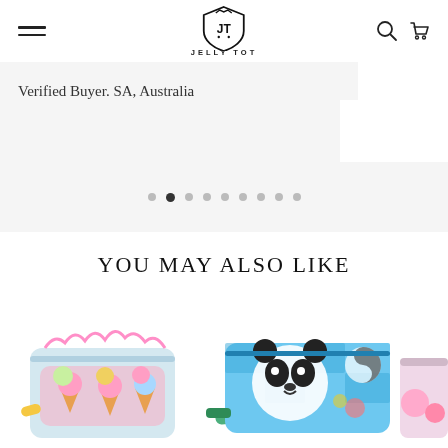Jelly Tot — navigation header with hamburger menu, logo, search and cart icons
Verified Buyer. SA, Australia
[Figure (other): Carousel pagination dots, 9 dots total with second dot active]
YOU MAY ALSO LIKE
[Figure (photo): Colorful ice cream print bum bag / fanny pack with yellow strap]
[Figure (photo): Panda/sloth print bum bag / fanny pack with green strap]
[Figure (photo): Partial view of a third product item on the right edge]